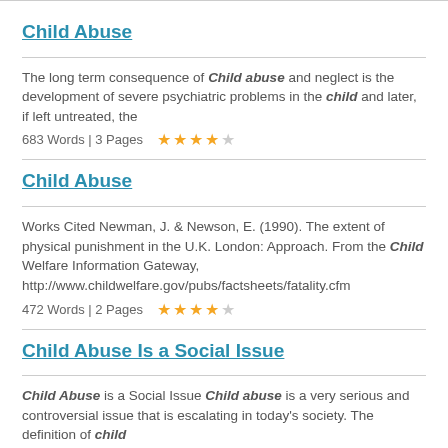Child Abuse
The long term consequence of Child abuse and neglect is the development of severe psychiatric problems in the child and later, if left untreated, the
683 Words | 3 Pages  ★★★★☆
Child Abuse
Works Cited Newman, J. & Newson, E. (1990). The extent of physical punishment in the U.K. London: Approach. From the Child Welfare Information Gateway, http://www.childwelfare.gov/pubs/factsheets/fatality.cfm
472 Words | 2 Pages  ★★★★☆
Child Abuse Is a Social Issue
Child Abuse is a Social Issue Child abuse is a very serious and controversial issue that is escalating in today's society. The definition of child
582 Words | 3 Pages  ★★★★☆
Similar Topics